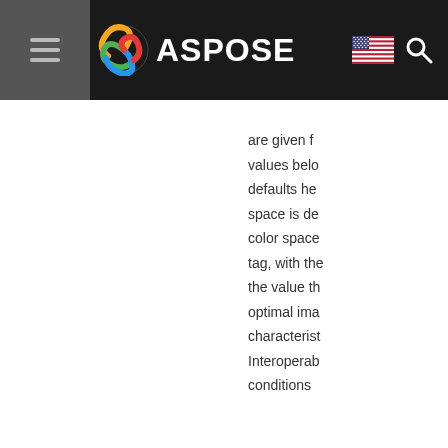ASPOSE
are given f... values belo... defaults he... space is de... color space... tag, with the... the value th... optimal ima... characterist... Interoperab... conditions
|  |  |  |
| --- | --- | --- |
| Copyright | 33432 | Copyright in... this standar... used to indi... photograph... copyrights. |